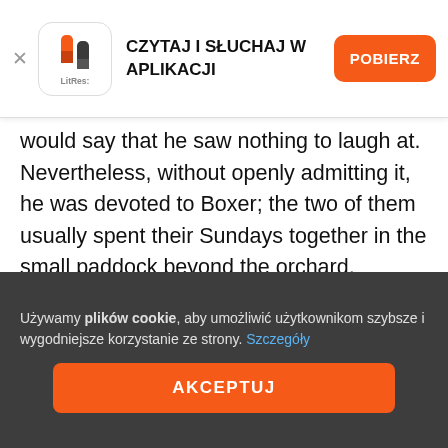[Figure (logo): LitRes app banner with logo, text 'CZYTAJ I SŁUCHAJ W APLIKACJI' and orange 'POBIERZ' button]
would say that he saw nothing to laugh at. Nevertheless, without openly admitting it, he was devoted to Boxer; the two of them usually spent their Sundays together in the small paddock beyond the orchard, grazing side by side and never speaking.
The two horses had just lain down when a brood of ducklings, which had lost their mother, filed into the barn, cheeping feebly and wandering from side to side to find some place where they would not be trodden on. Clover made a sort of wall round them with her great foreleg, and
Używamy plików cookie, aby umożliwić użytkownikom szybsze i wygodniejsze korzystanie ze strony. Szczegóły
AKCEPTUJ